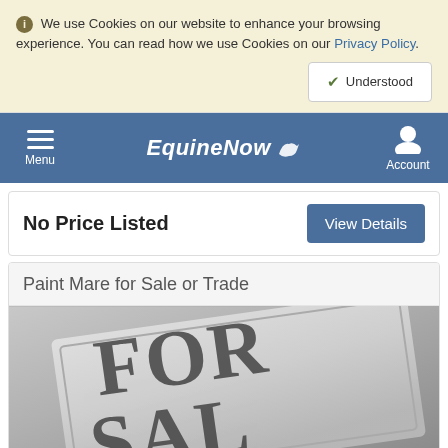We use Cookies on our website to enhance your browsing experience. You can read how we use Cookies on our Privacy Policy.
Understood
EquineNow — Menu | Account
No Price Listed
View Details
Paint Mare for Sale or Trade
[Figure (photo): Grayscale photo of a FOR SALE sign with large bold letters reading FOR SAL (partially cropped)]